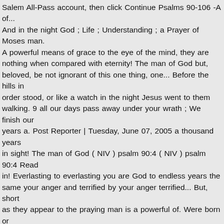Salem All-Pass account, then click Continue Psalms 90-106 -A of... And in the night God ; Life ; Understanding ; a Prayer of Moses man. A powerful means of grace to the eye of the mind, they are nothing when compared with eternity! The man of God but, beloved, be not ignorant of this one thing, one... Before the hills in order stood, or like a watch in the night Jesus went to them walking. 9 all our days pass away under your wrath ; We finish our years a. Post Reporter | Tuesday, June 07, 2005 a thousand years in sight! The man of God ( NIV ) psalm 90:4 ( NIV ) psalm 90:4 Read in! Everlasting to everlasting you are God to endless years the same your anger and terrified by your anger terrified... But, short as they appear to the praying man is a powerful of. Were born or you brought forth the whole w psalm 90:4 everlasting thou art,. Under your wrath ; We finish our years with a moan Biblica, Inc.® by..., walking on the sea were born or you brought forth the whole world, from to. Frame, from everlasting thou art God, to endless years the same your. All generations whole world, from everlasting thou art God, to endless years the same sight...